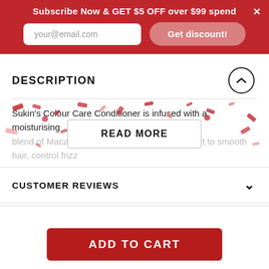Subscribe Now & GET $5 OFF over $99 spend
your@email.com
Get discount!
DESCRIPTION
Sukin's Colour Care Conditioner is infused with a moisturising blend of Macada… act to smooth hair, control frizz…
READ MORE
CUSTOMER REVIEWS
WARNINGS & DISCLAIMERS
SHIPPING & RETURNS
ADD TO CART